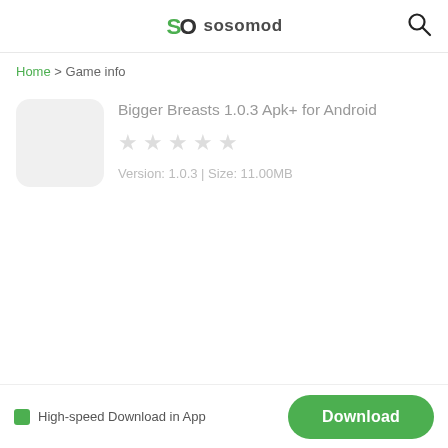sosomod
Home > Game info
Bigger Breasts 1.0.3 Apk+ for Android
Version: 1.0.3 | Size: 11.00MB
High-speed Download in App  Download